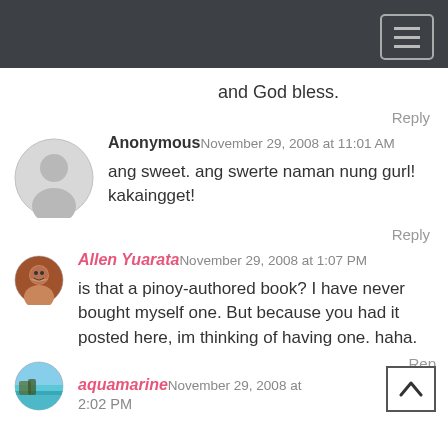[Figure (screenshot): Dark navigation bar with hamburger menu icon (three horizontal lines) on the right side]
and God bless.
Reply
Anonymous November 29, 2008 at 11:01 AM
ang sweet. ang swerte naman nung gurl! kakaingget!
Reply
Allen Yuarata November 29, 2008 at 1:07 PM
is that a pinoy-authored book? I have never bought myself one. But because you had it posted here, im thinking of having one. haha.
Reply
aquamarine November 29, 2008 at 2:02 PM